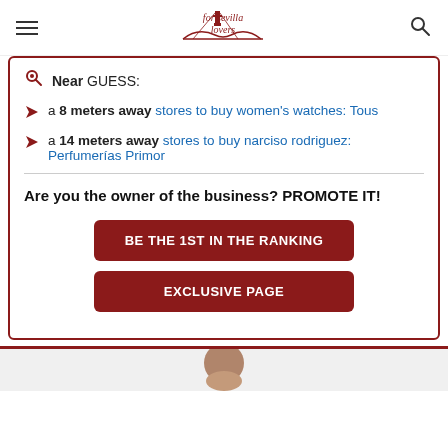For Sevilla Lovers
Near GUESS:
a 8 meters away stores to buy women's watches: Tous
a 14 meters away stores to buy narciso rodriguez: Perfumerías Primor
Are you the owner of the business? PROMOTE IT!
BE THE 1ST IN THE RANKING
EXCLUSIVE PAGE